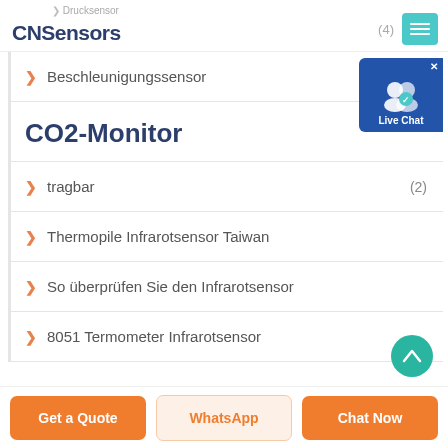CNSensors
> Drucksensor
(4)
> Beschleunigungssensor
CO2-Monitor
> tragbar (2)
> Thermopile Infrarotsensor Taiwan
> So überprüfen Sie den Infrarotsensor
> 8051 Termometer Infrarotsensor
Get a Quote
WhatsApp
Chat Now